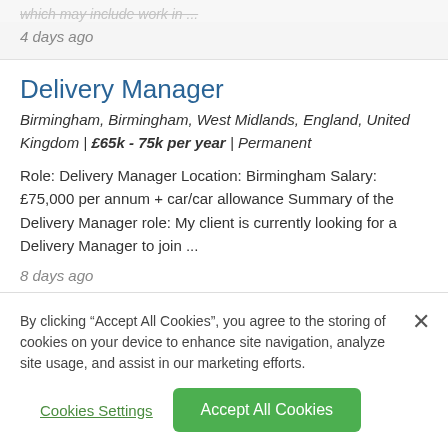which may include work in ...
4 days ago
Delivery Manager
Birmingham, Birmingham, West Midlands, England, United Kingdom | £65k - 75k per year | Permanent
Role: Delivery Manager Location: Birmingham Salary: £75,000 per annum + car/car allowance Summary of the Delivery Manager role: My client is currently looking for a Delivery Manager to join ...
8 days ago
By clicking “Accept All Cookies”, you agree to the storing of cookies on your device to enhance site navigation, analyze site usage, and assist in our marketing efforts.
Cookies Settings
Accept All Cookies